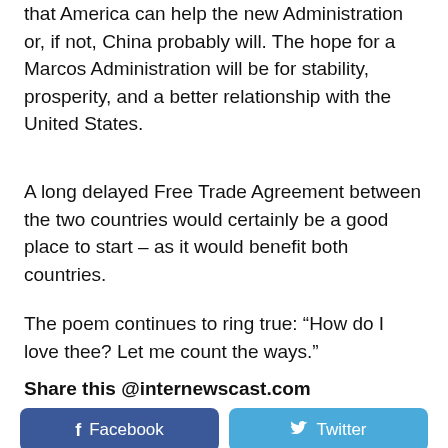that America can help the new Administration or, if not, China probably will. The hope for a Marcos Administration will be for stability, prosperity, and a better relationship with the United States.
A long delayed Free Trade Agreement between the two countries would certainly be a good place to start – as it would benefit both countries.
The poem continues to ring true: “How do I love thee? Let me count the ways.”
Share this @internewscast.com
[Figure (other): Facebook and Twitter share buttons at the bottom of the page]